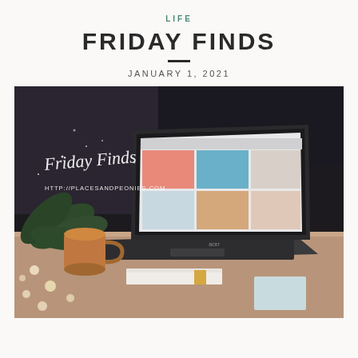LIFE
FRIDAY FINDS
JANUARY 1, 2021
[Figure (photo): A laptop on a wooden desk displaying a photo grid/mood board website, with a copper mug, fairy lights, books, and a tropical plant in the background. White script text overlay reads 'Friday Finds' with URL http://placesandpeonies.com]